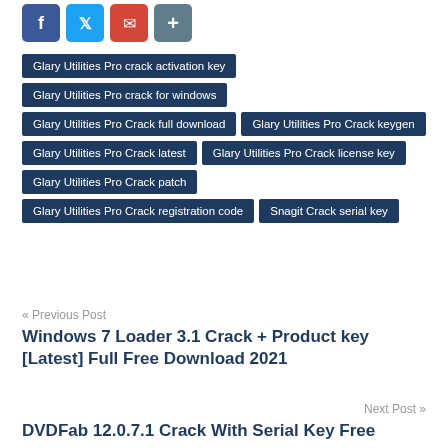[Figure (other): Social sharing icons: Facebook (blue), Twitter (blue), Email (red/envelope), Share (grey/plus)]
Glary Utilities Pro crack activation key
Glary Utilities Pro crack for windows
Glary Utilities Pro Crack full download
Glary Utilities Pro Crack keygen
Glary Utilities Pro Crack latest
Glary Utilities Pro Crack license key
Glary Utilities Pro Crack patch
Glary Utilities Pro Crack registration code
Snagit Crack serial key
« Previous Post
Windows 7 Loader 3.1 Crack + Product key [Latest] Full Free Download 2021
Next Post »
DVDFab 12.0.7.1 Crack With Serial Key Free